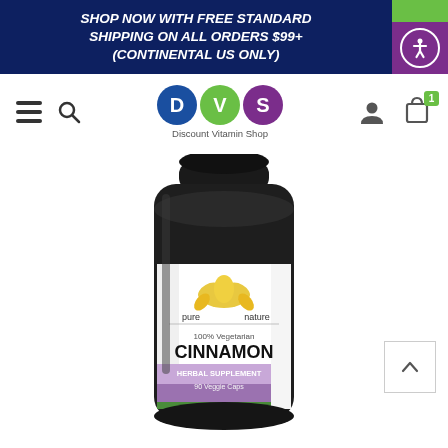SHOP NOW WITH FREE STANDARD SHIPPING ON ALL ORDERS $99+ (CONTINENTAL US ONLY)
[Figure (logo): DVS Discount Vitamin Shop logo with three colored circles (D=blue, V=green, S=purple)]
[Figure (photo): Dark glass bottle of Pure Nature 100% Vegetarian Cinnamon Herbal Supplement, 90 Veggie Caps, with a white label featuring a lotus flower graphic and purple/green gradient design]